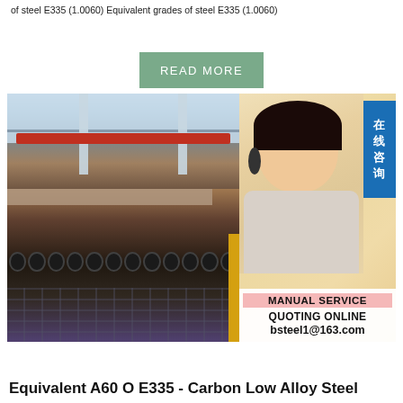of steel E335 (1.0060) Equivalent grades of steel E335 (1.0060)
[Figure (illustration): READ MORE button (green/teal background with white text)]
[Figure (photo): Composite image: left side shows a steel factory/mill interior with conveyor rollers and steel plates; right side shows a woman with headset (customer service rep) with Chinese characters badge, and service info panel showing MANUAL SERVICE, QUOTING ONLINE, bsteel1@163.com]
Equivalent A60 O E335 - Carbon Low Alloy Steel